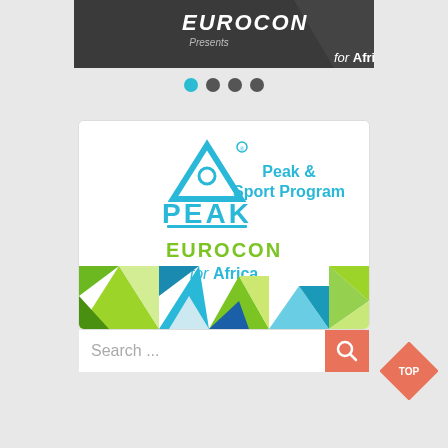[Figure (screenshot): Top banner with EUROCON logo text in white on dark background, subtitle 'Presents' and 'for Africa' text]
[Figure (other): Pagination dots: one active teal dot followed by three dark gray dots]
[Figure (logo): PEAK sport brand card with triangle logo, 'Peak & Sport Program' text in teal, EUROCON EUROCOM text in green, 'for Africa' text, and colorful geometric triangle pattern background at bottom]
Search ...
[Figure (other): TOP navigation button - salmon/coral diamond shape with 'TOP' text]